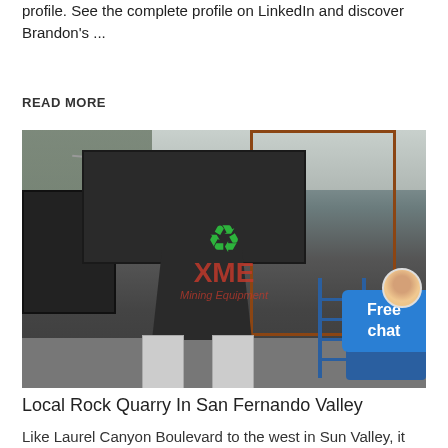profile. See the complete profile on LinkedIn and discover Brandon's ...
READ MORE
[Figure (photo): Industrial mining/quarry equipment facility with a large crusher machine elevated on concrete pillars, conveyor belts, metal framework, and a blue storage drum. XME Mining Equipment watermark overlaid in center. A chat widget with female avatar appears on the right side.]
Local Rock Quarry In San Fernando Valley
Like Laurel Canyon Boulevard to the west in Sun Valley, it